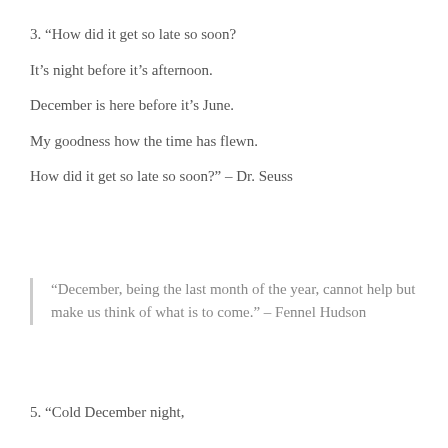3. “How did it get so late so soon?

It’s night before it’s afternoon.

December is here before it’s June.

My goodness how the time has flewn.

How did it get so late so soon?” – Dr. Seuss
“December, being the last month of the year, cannot help but make us think of what is to come.” – Fennel Hudson
5. “Cold December night,